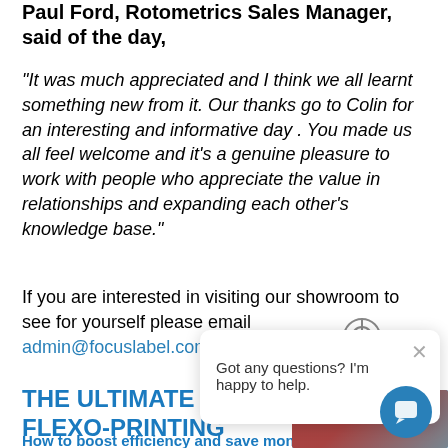Paul Ford, Rotometrics Sales Manager, said of the day,
"It was much appreciated and I think we all learnt something new from it. Our thanks go to Colin for an interesting and informative day . You made us all feel welcome and it's a genuine pleasure to work with people who appreciate the value in relationships and expanding each other's knowledge base."
If you are interested in visiting our showroom to see for yourself please email admin@focuslabel.com.
THE ULTIMATE G... FLEXO-PRINTING
How to boost efficiency and save money on label and narrow web flexographic printing.
[Figure (screenshot): Chat popup widget with crosshair icon and message 'Got any questions? I'm happy to help.' with close button and chat bubble button]